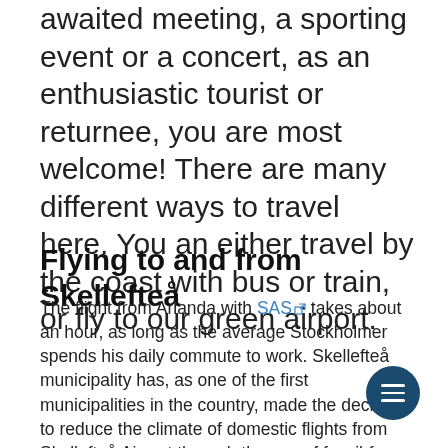awaited meeting, a sporting event or a concert, as an enthusiastic tourist or returnee, you are most welcome! There are many different ways to travel here. You an either travel by the coast with bus or train, or fly to our green airport.
Flying to and from Skellefteå
The flight from Arlanda with SAS takes about an hour, as long as the average Stockholmer spends his daily commute to work. Skellefteå municipality has, as one of the first municipalities in the country, made the decision to reduce the climate of domestic flights from Skellefteå Airport through the use of fossil-free aviation fuel. Skellefteå Airport, together with Skellefteå Kraft, Northvolt, InnoEnergy and Skellefteå Science City...